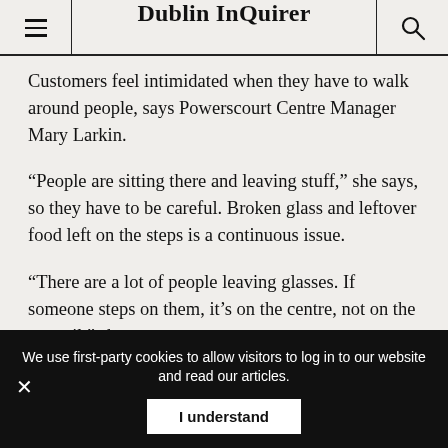Dublin InQuirer
Customers feel intimidated when they have to walk around people, says Powerscourt Centre Manager Mary Larkin.
“People are sitting there and leaving stuff,” she says, so they have to be careful. Broken glass and leftover food left on the steps is a continuous issue.
“There are a lot of people leaving glasses. If someone steps on them, it’s on the centre, not on the council,” she says.
Larkin says she understands that people want to sit there
challenge this way, she says.  We’ve had complaints [from
We use first-party cookies to allow visitors to log in to our website and read our articles.